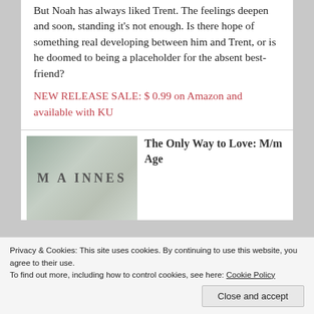But Noah has always liked Trent. The feelings deepen and soon, standing it's not enough. Is there hope of something real developing between him and Trent, or is he doomed to being a placeholder for the absent best-friend?
NEW RELEASE SALE: $ 0.99 on Amazon and available with KU
[Figure (photo): Book cover showing 'M A INNES' text on a stone/marble texture background]
The Only Way to Love: M/m Age
Privacy & Cookies: This site uses cookies. By continuing to use this website, you agree to their use. To find out more, including how to control cookies, see here: Cookie Policy